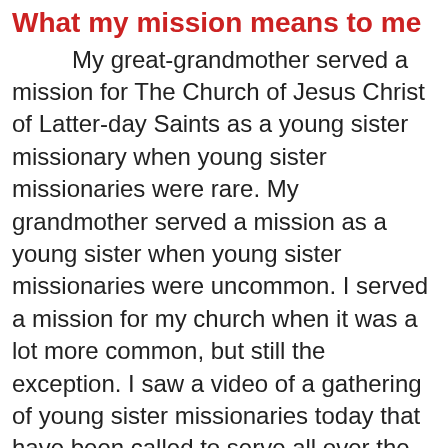What my mission means to me
My great-grandmother served a mission for The Church of Jesus Christ of Latter-day Saints as a young sister missionary when young sister missionaries were rare. My grandmother served a mission as a young sister when young sister missionaries were uncommon. I served a mission for my church when it was a lot more common, but still the exception. I saw a video of a gathering of young sister missionaries today that have been called to serve all over the world by their mission president for